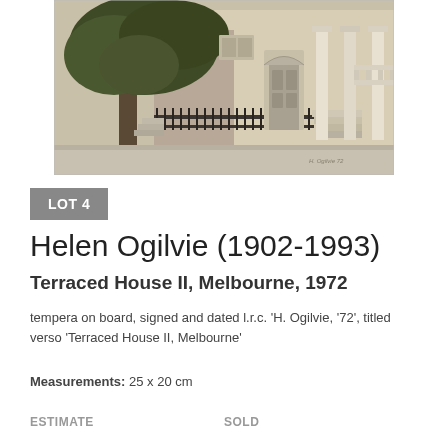[Figure (photo): Painting of a terraced house facade in Melbourne showing the exterior with iron fence, steps, columns, arched doorway, and a large tree in the foreground. Tempera on board artwork by Helen Ogilvie, 1972.]
LOT 4
Helen Ogilvie (1902-1993)
Terraced House II, Melbourne, 1972
tempera on board, signed and dated l.r.c. 'H. Ogilvie, '72', titled verso 'Terraced House II, Melbourne'
Measurements: 25 x 20 cm
ESTIMATE
SOLD